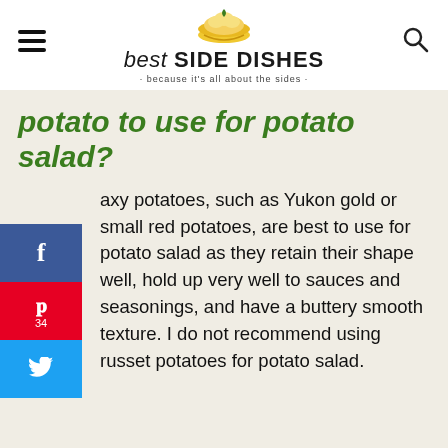best SIDE DISHES · because it's all about the sides ·
potato to use for potato salad?
Waxy potatoes, such as Yukon gold or small red potatoes, are best to use for potato salad as they retain their shape well, hold up very well to sauces and seasonings, and have a buttery smooth texture. I do not recommend using russet potatoes for potato salad.